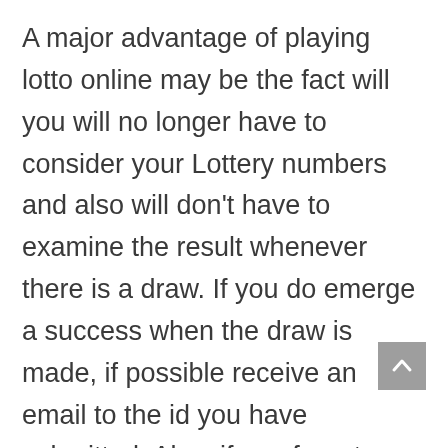A major advantage of playing lotto online may be the fact will you will no longer have to consider your Lottery numbers and also will don't have to examine the result whenever there is a draw. If you do emerge a success when the draw is made, if possible receive an email to the id you have submitted. Also, if you forget your lotto ticket number, might easily retrieve the number from many of the by submitting your personal data. With brand new legalizing the online lotto games, there is nothing that can stop you from earning extra cash!!